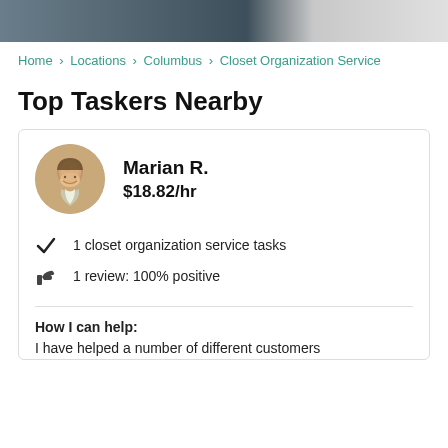[Figure (photo): Cropped photo strip showing closet/wardrobe in background at top of page]
Home › Locations › Columbus › Closet Organization Service
Top Taskers Nearby
[Figure (photo): Circular avatar photo of Marian R., a woman with brown hair, smiling]
Marian R.
$18.82/hr
1 closet organization service tasks
1 review: 100% positive
How I can help:
I have helped a number of different customers